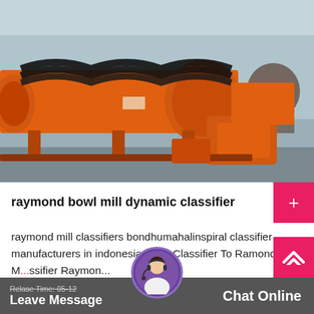[Figure (photo): Large orange industrial spiral classifier / screw classifier machine photographed in a factory/warehouse setting. The machine is orange-painted with a large rotating spiral drum and black fins, positioned on a metal frame. Industrial equipment visible in the background.]
raymond bowl mill dynamic classifier
raymond mill classifiers bondhumahalinspiral classifier manufacturers in indonesia. Twin Classifier To Ramond M...ssifier Raymon...
Relase Time: 05-12   Leave Message   Chat Online